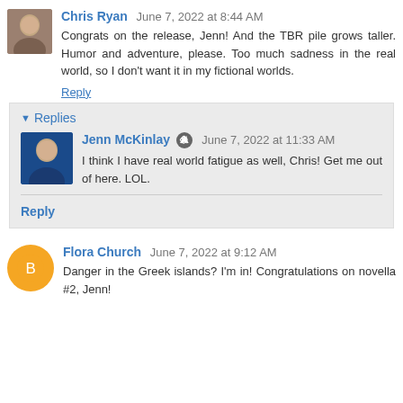Chris Ryan  June 7, 2022 at 8:44 AM
Congrats on the release, Jenn! And the TBR pile grows taller. Humor and adventure, please. Too much sadness in the real world, so I don't want it in my fictional worlds.
Reply
Replies
Jenn McKinlay  June 7, 2022 at 11:33 AM
I think I have real world fatigue as well, Chris! Get me out of here. LOL.
Reply
Flora Church  June 7, 2022 at 9:12 AM
Danger in the Greek islands? I'm in! Congratulations on novella #2, Jenn!